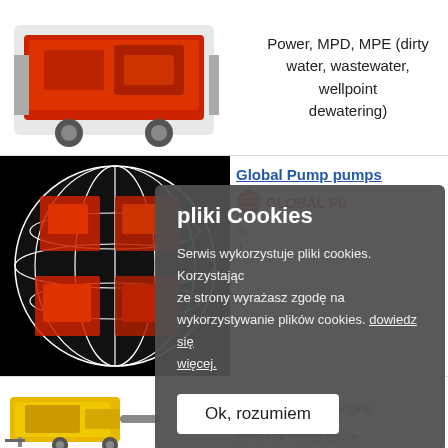[Figure (photo): Red industrial pump machine on wheels, partial view of orange/red trailer-mounted pump unit]
Power, MPD, MPE (dirty water, wastewater, wellpoint dewatering)
[Figure (photo): Globe with grid lines containing collage of red industrial pump machines on black background, with L PUMP text vertically on right side]
Global Pump pumps (link)
GLOBAL PUMP logo
m
d
[Figure (photo): Yellow diesel engine driven pump unit with wheels]
electric and diesel engine driven for multipurpose
pliki Cookies
Serwis wykorzystuje pliki cookies. Korzystając ze strony wyrażasz zgodę na wykorzystywanie plików cookies. dowiedz się więcej.
Ok, rozumiem